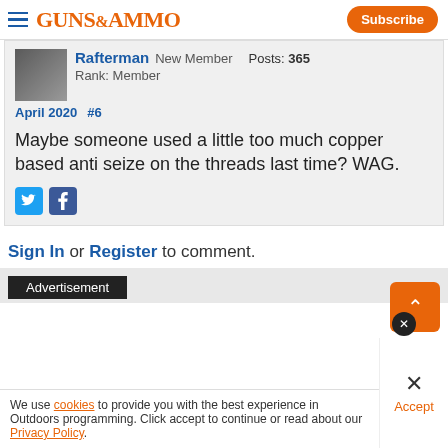GUNS&AMMO | Subscribe
Rafterman  New Member  Posts: 365  Rank: Member
April 2020  #6
Maybe someone used a little too much copper based anti seize on the threads last time? WAG.
Sign In or Register to comment.
Advertisement
We use cookies to provide you with the best experience in Outdoors programming. Click accept to continue or read about our Privacy Policy.